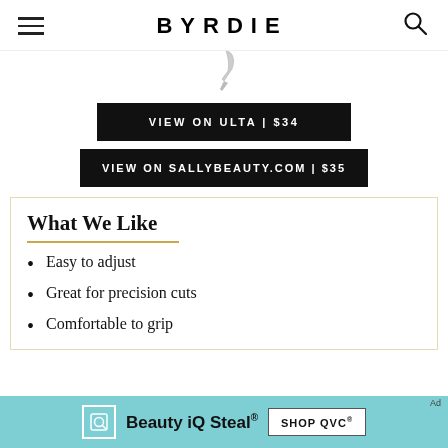BYRDIE
[Figure (photo): Partial product image, feather/scissor tip visible at top center]
VIEW ON ULTA | $34
VIEW ON SALLYBEAUTY.COM | $35
What We Like
Easy to adjust
Great for precision cuts
Comfortable to grip
[Figure (infographic): QVC Beauty iQ Steal advertisement banner with teal background. Text: Beauty iQ Steal® SHOP QVC®]